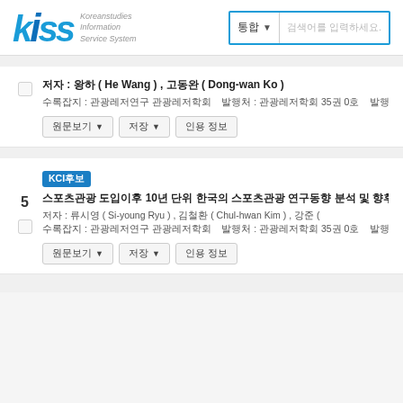[Figure (logo): KISS Koreanstudies Information Service System logo with blue stylized letters and search bar]
저자 : 왕 ( He Wang ) , 고동완 ( Dong-wan Ko ) | 수록잡지 : 관광레저연구 관광레저학회 | 발행처 : 관광레저학회 35권 0호 | 발행 연도 : 202
5 KCI후보 | 스포츠관광 도입이후 10년 단위 한국의 스포츠관광 연구동향 분석 및 향후 방향 -스포츠 관광개념을 중심으로 한 성과분석- | 저자 : 류시영 ( Si-young Ryu ) , 김철환 ( Chul-hwan Kim ) , 강준 ( | 수록잡지 : 관광레저연구 관광레저학회 | 발행처 : 관광레저학회 35권 0호 | 발행 연도 : 202